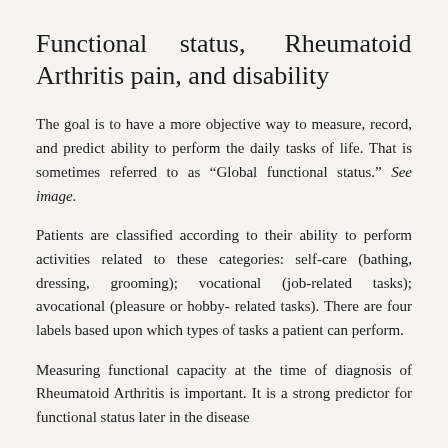Functional status, Rheumatoid Arthritis pain, and disability
The goal is to have a more objective way to measure, record, and predict ability to perform the daily tasks of life. That is sometimes referred to as “Global functional status.” See image.
Patients are classified according to their ability to perform activities related to these categories: self-care (bathing, dressing, grooming); vocational (job-related tasks); avocational (pleasure or hobby- related tasks). There are four labels based upon which types of tasks a patient can perform.
Measuring functional capacity at the time of diagnosis of Rheumatoid Arthritis is important. It is a strong predictor for functional status later in the disease